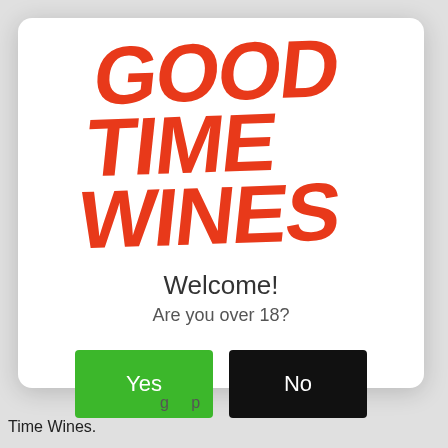[Figure (logo): Good Time Wines logo in large bold red italic text stacked on three lines: GOOD, TIME, WINES]
Welcome!
Are you over 18?
[Figure (screenshot): Yes button (green) and No button (black) for age verification]
Time Wines.